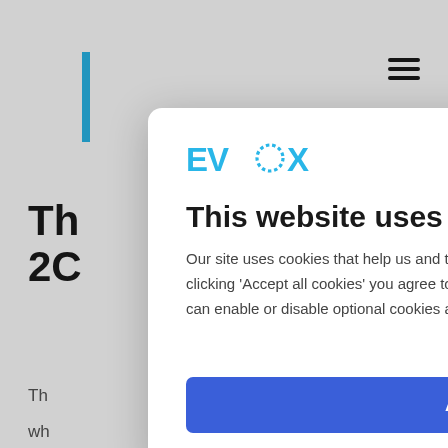[Figure (screenshot): Cookie consent modal overlay on EVBox website. The modal shows the EVBox logo, a heading 'This website uses cookies', explanatory text about cookies and a Cookie Policy link, a 'Change settings' option, and an 'Accept all cookies' button. Behind the modal, partial text from the underlying webpage is visible including a cyan vertical bar, hamburger menu icon, and truncated headings.]
This website uses cookies
Our site uses cookies that help us and third-party partners improve your browsing experience. By clicking 'Accept all cookies' you agree to the use of all cookies as described in our Cookie Policy. You can enable or disable optional cookies as desired.
Change settings
Accept all cookies